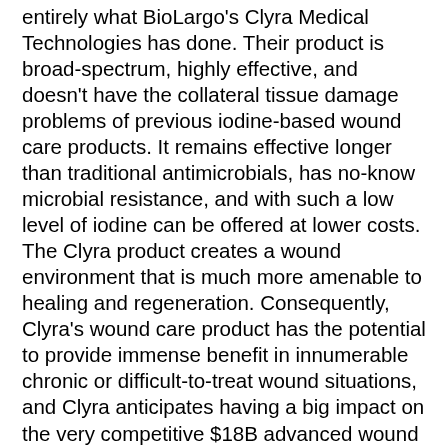entirely what BioLargo's Clyra Medical Technologies has done. Their product is broad-spectrum, highly effective, and doesn't have the collateral tissue damage problems of previous iodine-based wound care products. It remains effective longer than traditional antimicrobials, has no-know microbial resistance, and with such a low level of iodine can be offered at lower costs. The Clyra product creates a wound environment that is much more amenable to healing and regeneration. Consequently, Clyra's wound care product has the potential to provide immense benefit in innumerable chronic or difficult-to-treat wound situations, and Clyra anticipates having a big impact on the very competitive $18B advanced wound care market.
Clyra management reports that after years of development work, they have developed a proprietary technology that retains the full power of iodine, yet minimizes skin tissue damage so that the products can remain non-cytotoxic. While